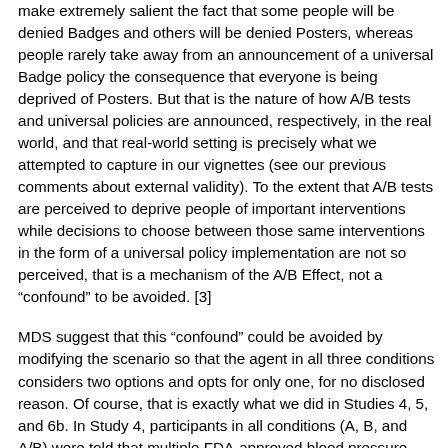make extremely salient the fact that some people will be denied Badges and others will be denied Posters, whereas people rarely take away from an announcement of a universal Badge policy the consequence that everyone is being deprived of Posters. But that is the nature of how A/B tests and universal policies are announced, respectively, in the real world, and that real-world setting is precisely what we attempted to capture in our vignettes (see our previous comments about external validity). To the extent that A/B tests are perceived to deprive people of important interventions while decisions to choose between those same interventions in the form of a universal policy implementation are not so perceived, that is a mechanism of the A/B Effect, not a “confound” to be avoided. [3]
MDS suggest that this “confound” could be avoided by modifying the scenario so that the agent in all three conditions considers two options and opts for only one, for no disclosed reason. Of course, that is exactly what we did in Studies 4, 5, and 6b. In Study 4, participants in all conditions (A, B, and A/B) were told that multiple FDA-approved blood pressure drugs exist, but Dr. Jones decides to give all of his patients “Drug A” (or “Drug B,” or conduct an A/B test of Drugs A and B to see which helps his patients